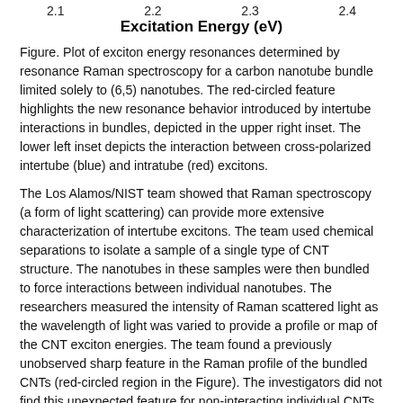[Figure (continuous-plot): Top portion of a Raman spectroscopy excitation energy plot showing x-axis labels 2.1, 2.2, 2.3, 2.4 and x-axis title 'Excitation Energy (eV)']
Figure. Plot of exciton energy resonances determined by resonance Raman spectroscopy for a carbon nanotube bundle limited solely to (6,5) nanotubes. The red-circled feature highlights the new resonance behavior introduced by intertube interactions in bundles, depicted in the upper right inset. The lower left inset depicts the interaction between cross-polarized intertube (blue) and intratube (red) excitons.
The Los Alamos/NIST team showed that Raman spectroscopy (a form of light scattering) can provide more extensive characterization of intertube excitons. The team used chemical separations to isolate a sample of a single type of CNT structure. The nanotubes in these samples were then bundled to force interactions between individual nanotubes. The researchers measured the intensity of Raman scattered light as the wavelength of light was varied to provide a profile or map of the CNT exciton energies. The team found a previously unobserved sharp feature in the Raman profile of the bundled CNTs (red-circled region in the Figure). The investigators did not find this unexpected feature for non-interacting individual CNTs.
Theoretical analysis showed that the unique packing geometry...